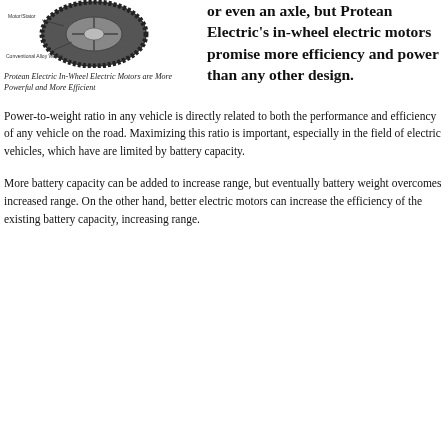[Figure (illustration): Diagram of an in-wheel electric motor compared to a conventional alloy wheel, with labeled arrows showing the motor components and wheel structure.]
Protean Electric In-Wheel Electric Motors are More Powerful and More Efficient
or even an axle, but Protean Electric's in-wheel electric motors promise more efficiency and power than any other design.
Power-to-weight ratio in any vehicle is directly related to both the performance and efficiency of any vehicle on the road. Maximizing this ratio is important, especially in the field of electric vehicles, which have are limited by battery capacity.
More battery capacity can be added to increase range, but eventually battery weight overcomes increased range. On the other hand, better electric motors can increase the efficiency of the existing battery capacity, increasing range.